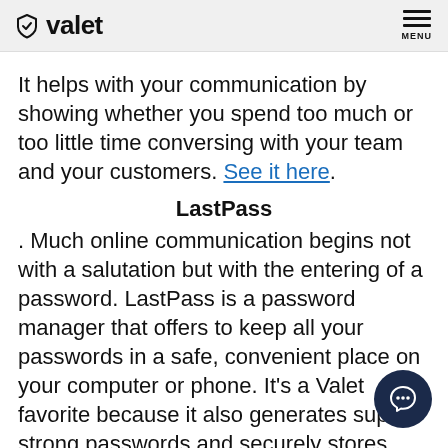valet  MENU
It helps with your communication by showing whether you spend too much or too little time conversing with your team and your customers. See it here.
LastPass
. Much online communication begins not with a salutation but with the entering of a password. LastPass is a password manager that offers to keep all your passwords in a safe, convenient place on your computer or phone. It's a Valet favorite because it also generates super-strong passwords and securely stores digital records, such as ID cards. Basically, any time a site or program asks a password, LastPass handles everything for you.